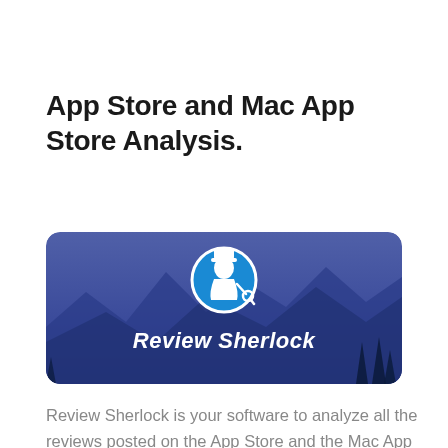App Store and Mac App Store Analysis.
[Figure (logo): Review Sherlock banner image with mountain background in dark blue tones, a circular blue icon showing a detective silhouette with magnifying glass, and white bold italic text 'Review Sherlock' centered below the icon.]
Review Sherlock is your software to analyze all the reviews posted on the App Store and the Mac App Store. Review Sherlock retrieves all the